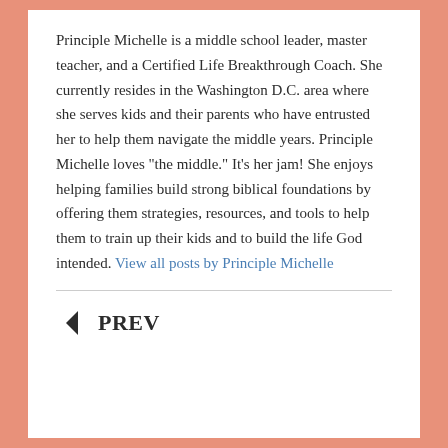Principle Michelle is a middle school leader, master teacher, and a Certified Life Breakthrough Coach. She currently resides in the Washington D.C. area where she serves kids and their parents who have entrusted her to help them navigate the middle years. Principle Michelle loves "the middle." It's her jam! She enjoys helping families build strong biblical foundations by offering them strategies, resources, and tools to help them to train up their kids and to build the life God intended. View all posts by Principle Michelle
PREV